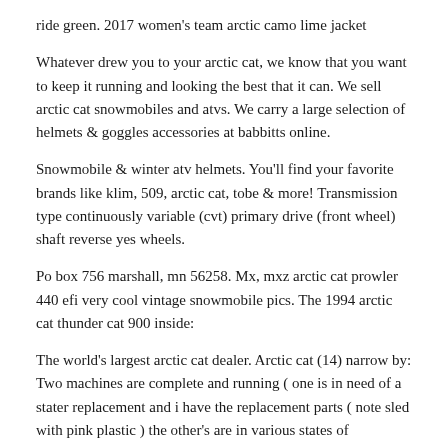ride green. 2017 women's team arctic camo lime jacket
Whatever drew you to your arctic cat, we know that you want to keep it running and looking the best that it can. We sell arctic cat snowmobiles and atvs. We carry a large selection of helmets & goggles accessories at babbitts online.
Snowmobile & winter atv helmets. You'll find your favorite brands like klim, 509, arctic cat, tobe & more! Transmission type continuously variable (cvt) primary drive (front wheel) shaft reverse yes wheels.
Po box 756 marshall, mn 56258. Mx, mxz arctic cat prowler 440 efi very cool vintage snowmobile pics. The 1994 arctic cat thunder cat 900 inside:
The world's largest arctic cat dealer. Arctic cat (14) narrow by: Two machines are complete and running ( one is in need of a stater replacement and i have the replacement parts ( note sled with pink plastic ) the other's are in various states of restoration.
Arctic cat parts house is owned and operated by babbitt's online.this site is dedicated to selling oem arctic cat atv parts, utv parts and snowmobile parts. Arctic cat snowmobile parts & accessories since 1960, arctic cat has been producing snowmobiles that create a loyal following. » arctic cat canada » ridegear » helmets sort » popular items price low to high price high to low >> |